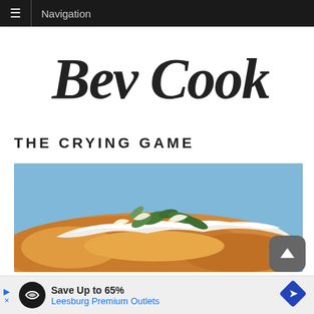Navigation
Bev Cooks
THE CRYING GAME
[Figure (photo): Close-up food photo of a golden crispy dish topped with melted white cheese or cream sauce and fresh green herb leaves (sage or basil), on a light blue background.]
[Figure (other): Advertisement banner: Save Up to 65% Leesburg Premium Outlets, with a circular logo and blue diamond navigation icon.]